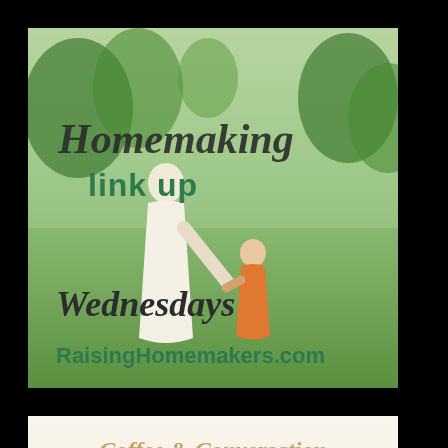[Figure (illustration): Homemaking Link Up badge: outdoor scene with mother and child holding hands on green grass, cursive text 'Homemaking link up Wednesdays RaisingHomemakers.com']
[Figure (illustration): Mom's Morning Coffee badge: Coffee & Conversation header, decorative script 'Mom's' with coffee cup illustration, 'MORNING COFFEE' text, 'Grab a Cup and Join Us!' tagline on cream background]